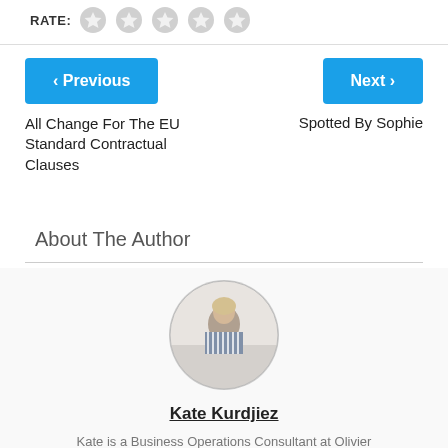RATE: ★ ★ ★ ★ ★
< Previous
Next >
All Change For The EU Standard Contractual Clauses
Spotted By Sophie
About The Author
[Figure (photo): Circular profile photo of Kate Kurdjiez, a woman sitting at a desk smiling, holding a coffee cup]
Kate Kurdjiez
Kate is a Business Operations Consultant at Olivier Consulting. She has a broad range of skills...